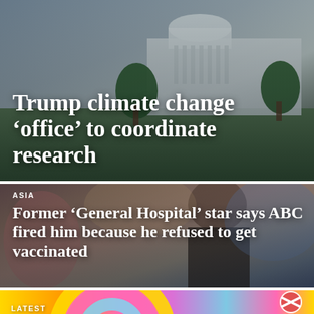[Figure (photo): Aerial or wide-angle photo of a large white building (White House) with trees and grounds, grayed/muted tones, used as background for headline card]
Trump climate change ‘office’ to coordinate research
[Figure (photo): Portrait photo of a man (actor) in a dark shirt against colorful blurred background]
ASIA
Former ‘General Hospital’ star says ABC fired him because he refused to get vaccinated
[Figure (illustration): Colorful graphic with rainbow arc shapes (yellow, pink/magenta, blue) and a circular logo/badge, partial view at bottom of page]
LATEST